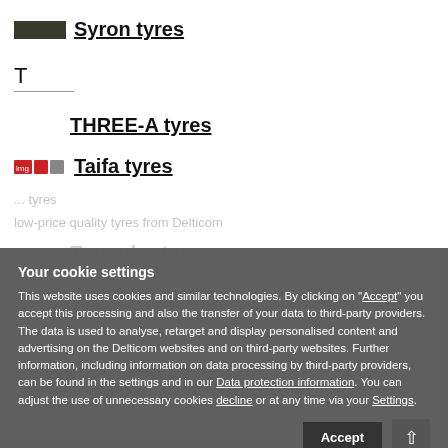Syron tyres
T
THREE-A tyres
Taifa tyres
Your cookie settings
This website uses cookies and similar technologies. By clicking on "Accept" you accept this processing and also the transfer of your data to third-party providers. The data is used to analyse, retarget and display personalised content and advertising on the Delticom websites and on third-party websites. Further information, including information on data processing by third-party providers, can be found in the settings and in our Data protection information. You can adjust the use of unnecessary cookies decline or at any time via your Settings.
Tourador tyres